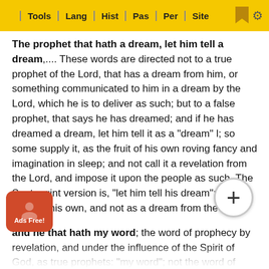Tools | Lang | Hist | Pas | Per | Site
The prophet that hath a dream, let him tell a dream,.... These words are directed not to a true prophet of the Lord, that has a dream from him, or something communicated to him in a dream by the Lord, which he is to deliver as such; but to a false prophet, that says he has dreamed; and if he has dreamed a dream, let him tell it as a "dream" l; so some supply it, as the fruit of his own roving fancy and imagination in sleep; and not call it a revelation from the Lord, and impose it upon the people as such. The Septuagint version is, "let him tell his dream"; let him tell it as his own, and not as a dream from the Lord;
and he that hath my word; the word of prophecy by revelation, and under the influence of the Spirit of God, as true prophets: "my word"; not the word of men, or spoken by angels, or the Scriptures in general; but the word of the Gospel, the word of peace and reconciliation, of righteousness and salvation; the sum and substance of the word,